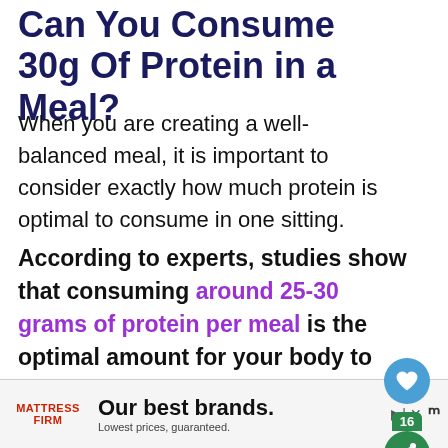Can You Consume 30g Of Protein in a Meal?
When you are creating a well-balanced meal, it is important to consider exactly how much protein is optimal to consume in one sitting.
According to experts, studies show that consuming around 25-30 grams of protein per meal is the optimal amount for your body to utilize in protein synthesis (building and repairing muscle...
[Figure (other): Blue circular save/bookmark button and green circular share button with count badge showing 16]
[Figure (other): Advertisement banner for Mattress Firm: 'Our best brands. Lowest prices, guaranteed.']